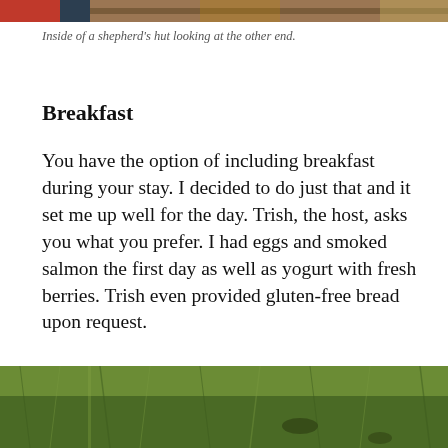[Figure (photo): Cropped top portion of a photo showing the interior of a shepherd's hut — visible are colorful fabric/clothing and a wooden wall.]
Inside of a shepherd's hut looking at the other end.
Breakfast
You have the option of including breakfast during your stay. I decided to do just that and it set me up well for the day. Trish, the host, asks you what you prefer. I had eggs and smoked salmon the first day as well as yogurt with fresh berries. Trish even provided gluten-free bread upon request.
[Figure (photo): Bottom portion of page showing a photo of green grass.]